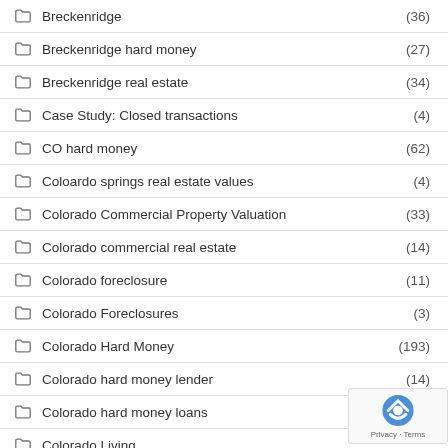Breckenridge (36)
Breckenridge hard money (27)
Breckenridge real estate (34)
Case Study: Closed transactions (4)
CO hard money (62)
Coloardo springs real estate values (4)
Colorado Commercial Property Valuation (33)
Colorado commercial real estate (14)
Colorado foreclosure (11)
Colorado Foreclosures (3)
Colorado Hard Money (193)
Colorado hard money lender (14)
Colorado hard money loans
Colorado Living